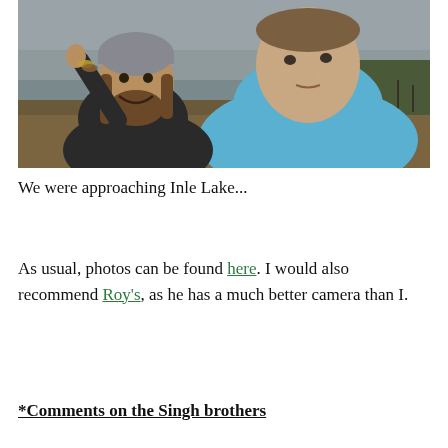[Figure (photo): Two men near a river/lake. The man on the left has long hair, a beard, and a beaded wristband, raising his hand and smiling. The man on the right is closer to the camera, wearing a blue plastic rain poncho, with short hair and a nose piercing. Overcast sky and muddy water in the background.]
We were approaching Inle Lake...
As usual, photos can be found here. I would also recommend Roy's, as he has a much better camera than I.
*Comments on the Singh brothers